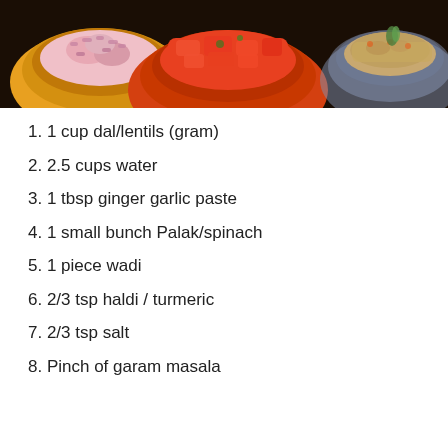[Figure (photo): Top photo showing bowls with ingredients: chopped red onions in a yellow bowl, chopped tomatoes in an orange bowl, and spices/garnishes in a glass bowl, on a dark background.]
1. 1 cup dal/lentils (gram)
2. 2.5 cups water
3. 1 tbsp ginger garlic paste
4. 1 small bunch Palak/spinach
5. 1 piece wadi
6. 2/3 tsp haldi / turmeric
7. 2/3 tsp salt
8. Pinch of garam masala